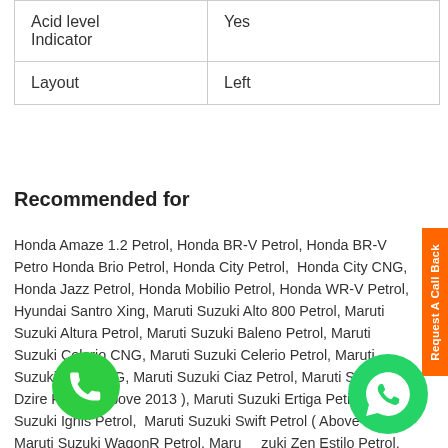| Acid level Indicator | Yes |
| Layout | Left |
Recommended for
Honda Amaze 1.2 Petrol, Honda BR-V Petrol, Honda BR-V Petrol, Honda Brio Petrol, Honda City Petrol, Honda City CNG, Honda Jazz Petrol, Honda Mobilio Petrol, Honda WR-V Petrol, Hyundai Santro Xing, Maruti Suzuki Alto 800 Petrol, Maruti Suzuki Altura Petrol, Maruti Suzuki Baleno Petrol, Maruti Suzuki Celerio CNG, Maruti Suzuki Celerio Petrol, Maruti Suzuki Ciaz CNG, Maruti Suzuki Ciaz Petrol, Maruti Suzuki Dzire Petrol ( Above 2013 ), Maruti Suzuki Ertiga Petrol, Maruti Suzuki Ignis Petrol, Maruti Suzuki Swift Petrol ( Above 2012 ), Maruti Suzuki WagonR Petrol, Maruti Suzuki Zen Estilo Petrol, Nissan Datsun Go Petrol, Datsun redi-Go Plus Petrol, Nissan Micra Petrol, Nissan Sunny Petrol, Renault Kwid Petrol, Renault Pulse Petrol, Renault Scala Petrol, Tata Indica Petrol, Tata Indigo Petrol, Toyota Etios Liva Petrol, Toyota Etios Petrol, Toyota Innova Crysta Petrol, Toyota Prius 1.8